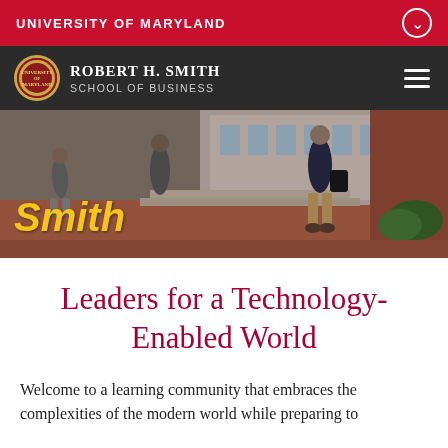UNIVERSITY OF MARYLAND
[Figure (logo): Robert H. Smith School of Business logo with University of Maryland seal on dark navigation bar]
[Figure (photo): Hero photo of students walking outside Smith School of Business building with yellow 'Smith' text overlay]
Leaders for a Technology-Enabled World
Welcome to a learning community that embraces the complexities of the modern world while preparing to